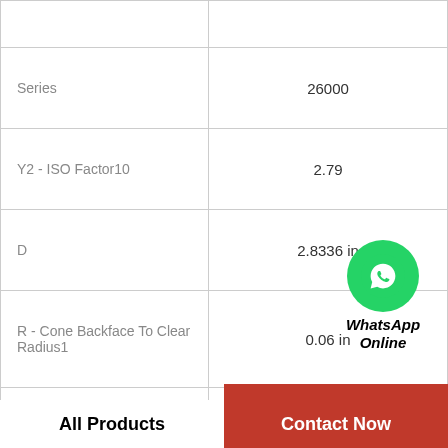| Property | Value |
| --- | --- |
| Series | 26000 |
| Y2 - ISO Factor10 | 2.79 |
| D | 2.8336 in |
| R - Cone Backface To Clear Radius1 | 0.06 in |
| C - Double Cup Width | 1.4375 in |
| Cage Type | Stamped Steel |
| Y1 - ISO Factor9 | 1.87 |
[Figure (logo): WhatsApp green phone icon with text 'WhatsApp Online' in bold italic]
All Products   Contact Now